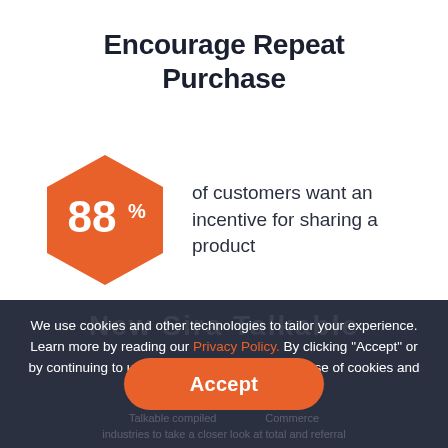Encourage Repeat Purchase
[Figure (infographic): Orange hexagon badge with '88%' in large white text, next to text reading 'of customers want an incentive for sharing a product']
We use cookies and other technologies to tailor your experience. Learn more by reading our Privacy Policy. By clicking "Accept" or by continuing to use the site, you agree to this use of cookies and data.
Accept
Talkable compiled Commerce industries to take a closer look at total and referral